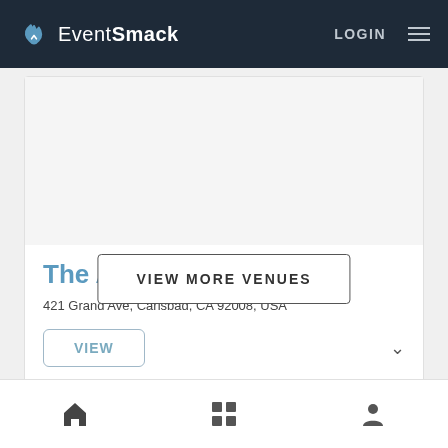EventSmack — LOGIN
[Figure (screenshot): Venue listing card with white background and blank image area]
The Alley
421 Grand Ave, Carlsbad, CA 92008, USA
VIEW MORE VENUES
Home | Grid | Profile navigation icons